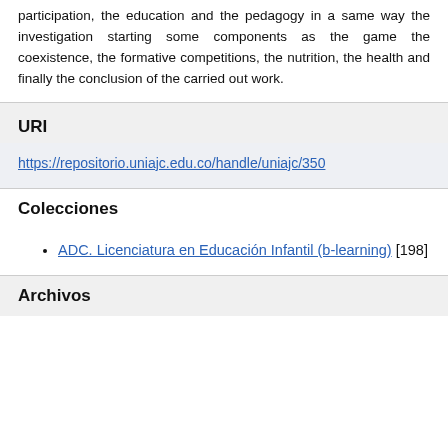participation, the education and the pedagogy in a same way the investigation starting some components as the game the coexistence, the formative competitions, the nutrition, the health and finally the conclusion of the carried out work.
URI
https://repositorio.uniajc.edu.co/handle/uniajc/350
Colecciones
ADC. Licenciatura en Educación Infantil (b-learning) [198]
Archivos